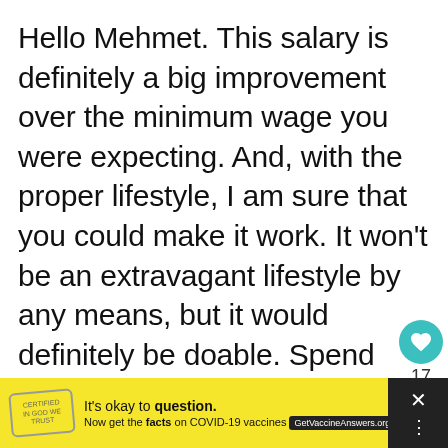Hello Mehmet. This salary is definitely a big improvement over the minimum wage you were expecting. And, with the proper lifestyle, I am sure that you could make it work. It won't be an extravagant lifestyle by any means, but it would definitely be doable. Spend some time finding a decent place with the rent as low as possible and you should be just fine (by “as low as possible” I mean a maximum of 300
[Figure (infographic): Yellow advertisement banner at bottom: 'It’s okay to question. Now get the facts on COVID-19 vaccines GetVaccineAnswers.org' with a stamp-style logo on the left and a dark panel with X and dots icon on the right.]